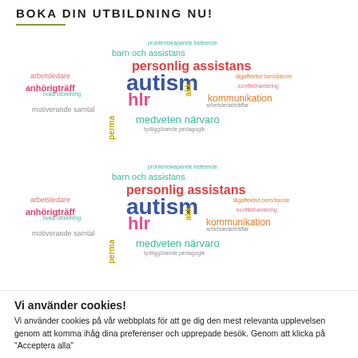BOKA DIN UTBILDNING NU!
[Figure (infographic): Word cloud (repeated twice) with Swedish education/training-related keywords in various colors and sizes: autism (large blue), personlig assistans (large red), hlr (large pink), barn och assistans (teal), kommunikation (orange), medveten närvaro (teal), anhörigträff (pink), motiverande samtal (gray), arbetsledare (pink), boka utbildning (teal small), akk (yellow vertical), perma (yellow vertical), tydliggörande pedagogik (gray small), problemskapande beteende (teal small), lågaffektivt bemötande (orange small), konflikthantering (pink small), arbetsledarträffar (gray small)]
Vi använder cookies!
Vi använder cookies på vår webbplats för att ge dig den mest relevanta upplevelsen genom att komma ihåg dina preferenser och upprepade besök. Genom att klicka på "Acceptera alla"